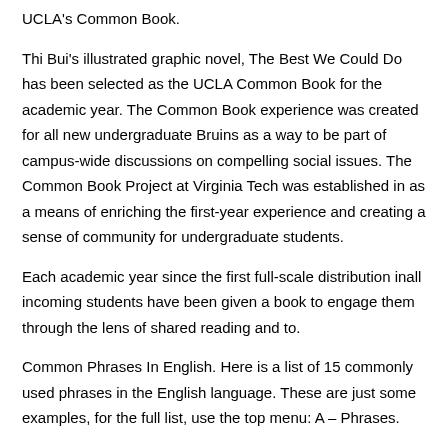UCLA's Common Book.
Thi Bui's illustrated graphic novel, The Best We Could Do has been selected as the UCLA Common Book for the academic year. The Common Book experience was created for all new undergraduate Bruins as a way to be part of campus-wide discussions on compelling social issues. The Common Book Project at Virginia Tech was established in as a means of enriching the first-year experience and creating a sense of community for undergraduate students.
Each academic year since the first full-scale distribution inall incoming students have been given a book to engage them through the lens of shared reading and to.
Common Phrases In English. Here is a list of 15 commonly used phrases in the English language. These are just some examples, for the full list, use the top menu: A – Phrases.
A Chip on Your Shoulder Being angry about something that happened in the past; holding a grudge. A Dime a Dozen When something is extremely common and/or simple to. Dec 26,  · Fear and faith have